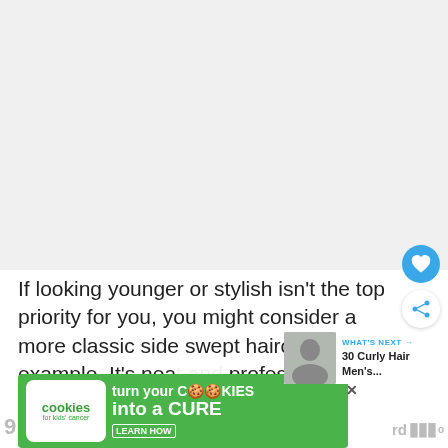[Figure (photo): Large photo area at top of page, mostly white/light gray placeholder]
If looking younger or stylish isn't the top priority for you, you might consider a more classic side swept haircut like this example. It's nea… professional.
[Figure (photo): What's Next panel: small photo of person with curly hair, label 'WHAT'S NEXT → 30 Curly Hair Men's...']
[Figure (screenshot): Advertisement banner: cookies for kids cancer — turn your COOKIES into a CURE LEARN HOW]
9   rd